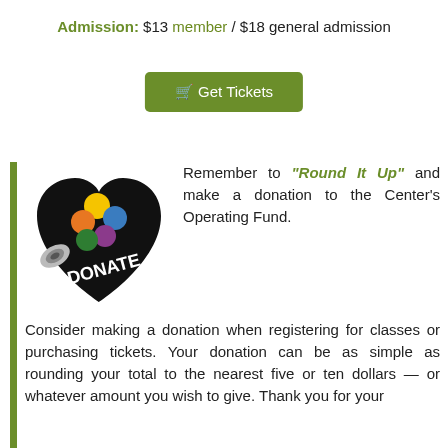Admission: $13 member / $18 general admission
[Figure (other): Green button labeled 'Get Tickets' with a shopping cart icon]
[Figure (illustration): Black heart-shaped donate logo with colorful paint palette dots and DONATE text]
Remember to "Round It Up" and make a donation to the Center's Operating Fund. Consider making a donation when registering for classes or purchasing tickets. Your donation can be as simple as rounding your total to the nearest five or ten dollars — or whatever amount you wish to give. Thank you for your